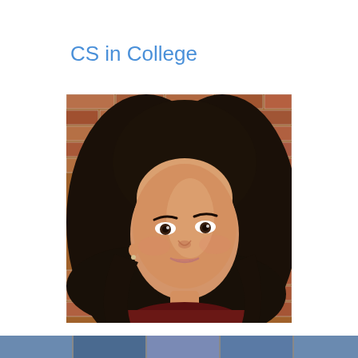CS in College
[Figure (photo): Portrait photo of a young woman with long dark hair, smiling, posed against a brick wall background. She is wearing a dark red top.]
[Figure (photo): Partial bottom strip showing another photo, cropped at the bottom edge of the page.]